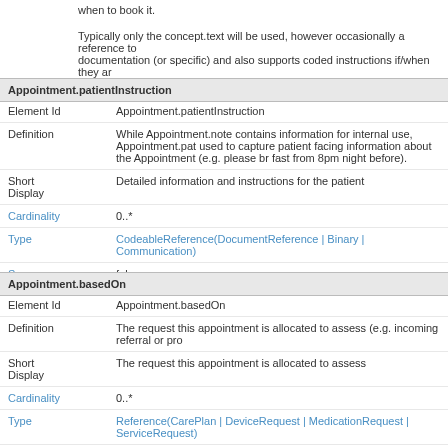when to book it.
Typically only the concept.text will be used, however occasionally a reference to documentation (or specific) and also supports coded instructions if/when they are
Appointment.patientInstruction
| Field | Value |
| --- | --- |
| Element Id | Appointment.patientInstruction |
| Definition | While Appointment.note contains information for internal use, Appointment.pat used to capture patient facing information about the Appointment (e.g. please br fast from 8pm night before). |
| Short Display | Detailed information and instructions for the patient |
| Cardinality | 0..* |
| Type | CodeableReference(DocumentReference | Binary | Communication) |
| Summary | false |
Appointment.basedOn
| Field | Value |
| --- | --- |
| Element Id | Appointment.basedOn |
| Definition | The request this appointment is allocated to assess (e.g. incoming referral or pro |
| Short Display | The request this appointment is allocated to assess |
| Cardinality | 0..* |
| Type | Reference(CarePlan | DeviceRequest | MedicationRequest | ServiceRequest) |
| Alternate Names | incomingReferral |